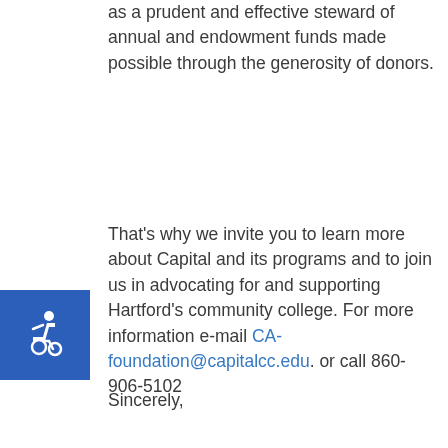as a prudent and effective steward of annual and endowment funds made possible through the generosity of donors.
That's why we invite you to learn more about Capital and its programs and to join us in advocating for and supporting Hartford's community college. For more information e-mail CA-foundation@capitalcc.edu. or call 860-906-5102
Sincerely,